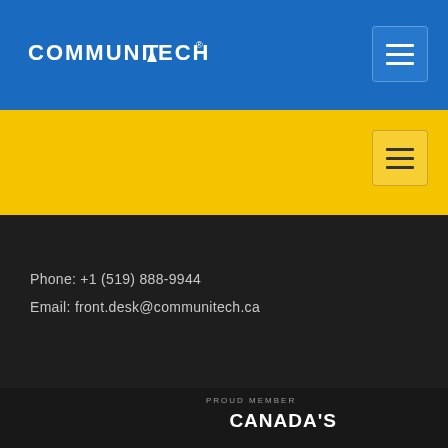[Figure (logo): Communitech logo - white text with stylized T icon on blue background]
[Figure (other): Hamburger menu button on blue header]
[Figure (other): Yellow navigation bar with hamburger menu button]
Phone: +1 (519) 888-9944
Email: front.desk@communitech.ca
Communitech helps founders start, grow and succeed.
PROUD MEMBER
CANADA'S